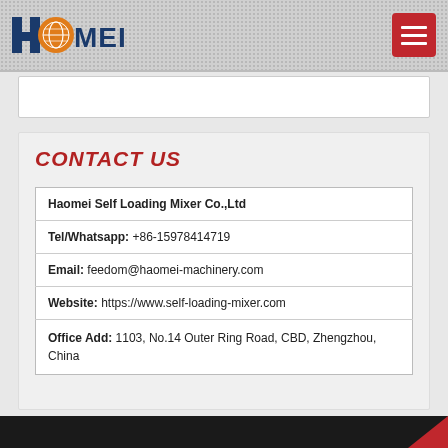[Figure (logo): Haomei logo with orange globe and dark blue text 'HAOMEI']
CONTACT US
| Haomei Self Loading Mixer Co.,Ltd |
| Tel/Whatsapp: +86-15978414719 |
| Email: feedom@haomei-machinery.com |
| Website: https://www.self-loading-mixer.com |
| Office Add: 1103, No.14 Outer Ring Road, CBD, Zhengzhou, China |